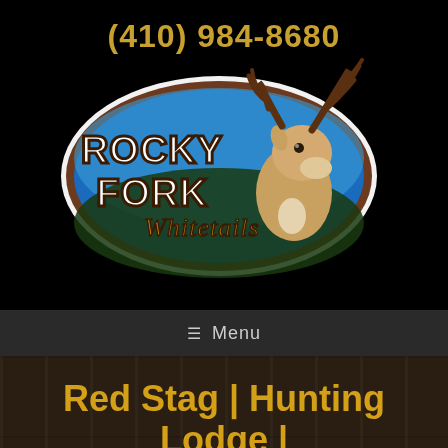(410) 984-8680
[Figure (logo): Rocky Fork Whitetails logo — oval shape with blue sky/forest background, large whitetail buck, text reads ROCKY FORK Whitetails in brown/white lettering]
☰  Menu
Red Stag | Hunting Lodge | Louisiana
Rocky Fork Whitetails offers the ultimate Red Stag Hunting Lodge for